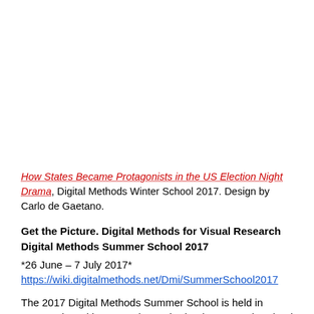How States Became Protagonists in the US Election Night Drama, Digital Methods Winter School 2017. Design by Carlo de Gaetano.
Get the Picture. Digital Methods for Visual Research Digital Methods Summer School 2017
*26 June – 7 July 2017*
https://wiki.digitalmethods.net/Dmi/SummerSchool2017
The 2017 Digital Methods Summer School is held in cooperation with RMeS, the Netherlands Research School for Media Studies.